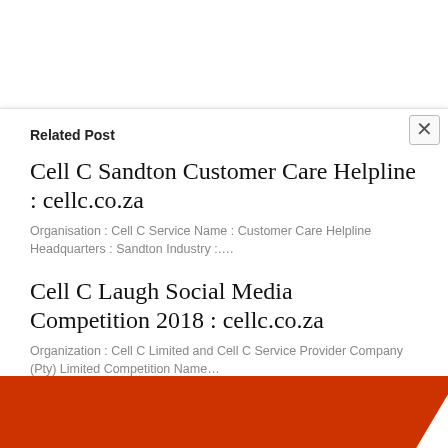Related Post
Cell C Sandton Customer Care Helpline : cellc.co.za
Organisation : Cell C Service Name : Customer Care Helpline Headquarters : Sandton Industry :….
Cell C Laugh Social Media Competition 2018 : cellc.co.za
Organization : Cell C Limited and Cell C Service Provider Company (Pty) Limited Competition Name…
[Figure (illustration): Orange/red branded banner at the bottom of the page with diagonal white shape and partial image of what appears to be tickets or coupons on the right side]